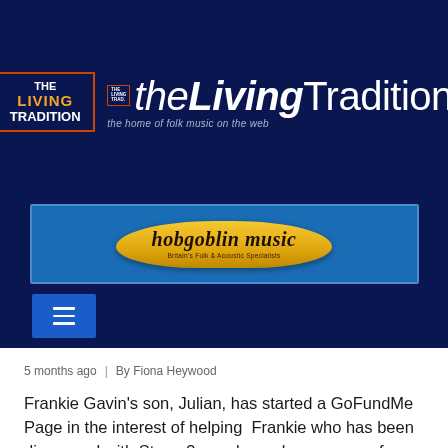[Figure (logo): The Living Tradition website header logo with magazine box logo on left and stylized 'the Living Tradition - the home of folk music on the web' text on right, on dark navy background]
[Figure (logo): Hobgoblin Music banner advertisement on blue background with gold ribbon-style logo]
[Figure (other): Hamburger menu button (three horizontal lines) on blue square, dark navy background]
5 months ago  |  By Fiona Heywood
Frankie Gavin's son, Julian, has started a GoFundMe Page in the interest of helping  Frankie who has been diagnosed with Stage 3 esophageal cancer, as of March 2022.
Julian says: "This year, in January, he started having